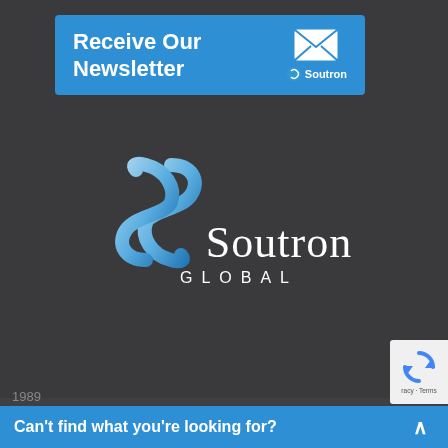[Figure (infographic): Blue newsletter banner with text 'Receive Our Newsletter', an envelope icon and Soutron logo on a blue background]
[Figure (logo): Soutron Global logo: stylized blue S ribbon above the text 'Soutron' in white serif font with 'GLOBAL' in white smaller caps below, on dark background]
[Figure (other): Dark scroll-to-top button with upward chevron arrow on the right side]
Home   Contact Us   Soutron Support
Technical Requirements
1989
[Figure (other): reCAPTCHA widget overlay in lower right corner showing circular arrows logo and 'racy - Terms' text]
Can't find what you're looking for?